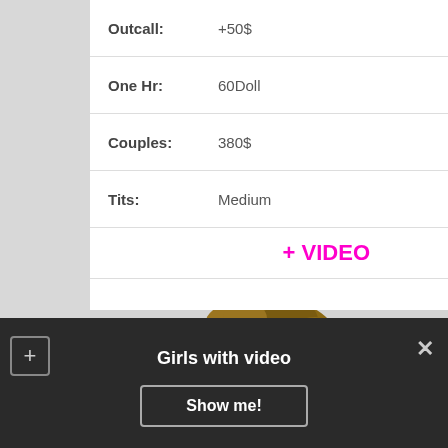| Outcall: | +50$ |
| One Hr: | 60Doll |
| Couples: | 380$ |
| Tits: | Medium |
+ VIDEO
Regards and kisses ;))
Noemi
[Figure (photo): Head/portrait photo of a person with curly brown hair, partially shown]
Girls with video
Show me!